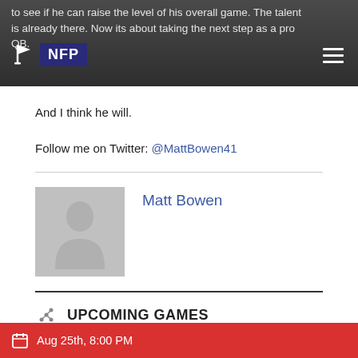to see if he can raise the level of his overall game. The talent is already there. Now its about taking the next step as a pro QB.
And I think he will.
Follow me on Twitter: @MattBowen41
[Figure (photo): Avatar placeholder image with silhouette of a person on grey background]
Matt Bowen
UPCOMING GAMES
Aug 25th, 8:00 PM